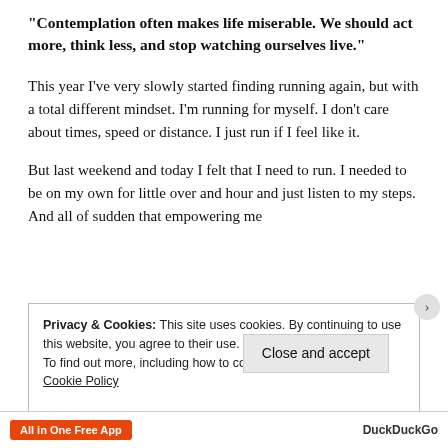“Contemplation often makes life miserable. We should act more, think less, and stop watching ourselves live.”
This year I’ve very slowly started finding running again, but with a total different mindset. I’m running for myself. I don’t care about times, speed or distance. I just run if I feel like it.
But last weekend and today I felt that I need to run. I needed to be on my own for little over and hour and just listen to my steps. And all of sudden that empowering me
Privacy & Cookies: This site uses cookies. By continuing to use this website, you agree to their use.
To find out more, including how to control cookies, see here: Cookie Policy
Close and accept
All in One Free App
DuckDuckGo